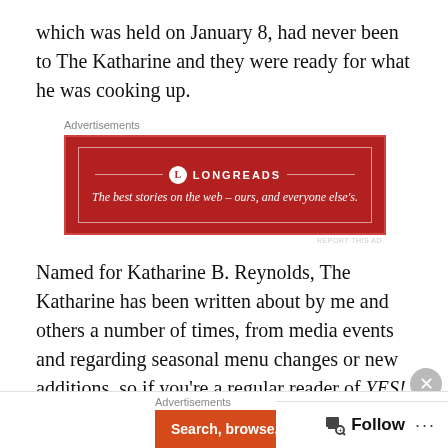which was held on January 8, had never been to The Katharine and they were ready for what he was cooking up.
[Figure (other): Longreads advertisement banner: red background with white border, Longreads logo and tagline 'The best stories on the web – ours, and everyone else's.']
Named for Katharine B. Reynolds, The Katharine has been written about by me and others a number of times, from media events and regarding seasonal menu changes or new additions, so if you're a regular reader of YES! Weekly or Triadfoodies, you know I've walked away impressed with the food and service more than once.  And
[Figure (other): Bottom advertisement banner: orange/red background with text 'Search, browse, and email' and dark right panel with circular icon.]